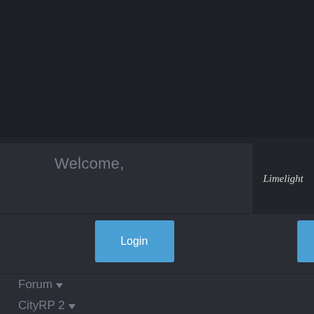[Figure (screenshot): Dark hero image area at the top of a web page]
Welcome,
[Figure (logo): Limelight logo in italic script on dark background]
Login
Sign Up
Forum ▼
CityRP 2 ▼